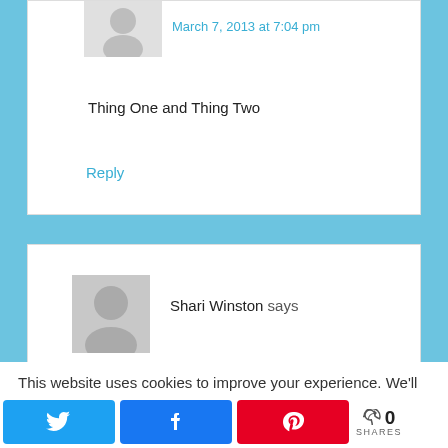March 7, 2013 at 7:04 pm
Thing One and Thing Two
Reply
Shari Winston says
This website uses cookies to improve your experience. We'll assume you're ok with this, but you can opt-out if you wish.
0 SHARES